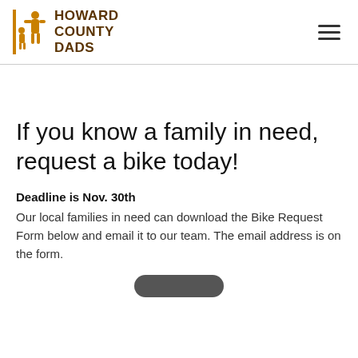HOWARD COUNTY DADS
If you know a family in need, request a bike today!
Deadline is Nov. 30th
Our local families in need can download the Bike Request Form below and email it to our team. The email address is on the form.